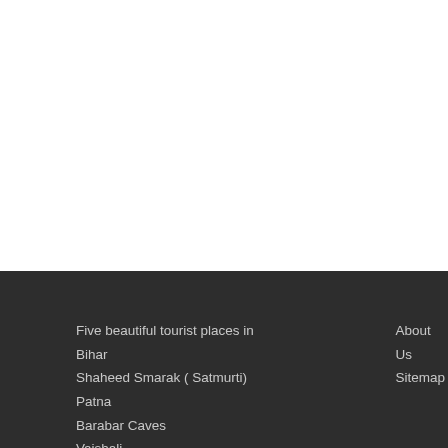Five beautiful tourist places in Bihar
Shaheed Smarak ( Satmurti) Patna
Barabar Caves
Vaishali
Rajgir
Nalanda
About Us
Sitemap